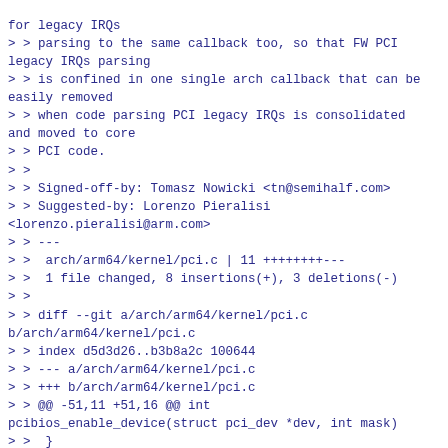> > parsing to the same callback too, so that FW PCI legacy IRQs parsing
> > is confined in one single arch callback that can be easily removed
> > when code parsing PCI legacy IRQs is consolidated and moved to core
> > PCI code.
> >
> > Signed-off-by: Tomasz Nowicki <tn@semihalf.com>
> > Suggested-by: Lorenzo Pieralisi <lorenzo.pieralisi@arm.com>
> > ---
> >  arch/arm64/kernel/pci.c | 11 ++++++++---
> >  1 file changed, 8 insertions(+), 3 deletions(-)
> >
> > diff --git a/arch/arm64/kernel/pci.c b/arch/arm64/kernel/pci.c
> > index d5d3d26..b3b8a2c 100644
> > --- a/arch/arm64/kernel/pci.c
> > +++ b/arch/arm64/kernel/pci.c
> > @@ -51,11 +51,16 @@ int pcibios_enable_device(struct pci_dev *dev, int mask)
> >  }
> >
> >   /*
> > - * Try to assign the IRQ number from DT when adding a new device
> > + * Try to assign the IRQ number when probing a new device
> >   */